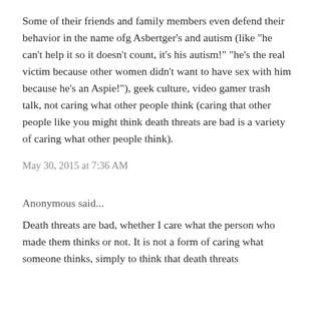Some of their friends and family members even defend their behavior in the name ofg Asbertger's and autism (like "he can't help it so it doesn't count, it's his autism!" "he's the real victim because other women didn't want to have sex with him because he's an Aspie!"), geek culture, video gamer trash talk, not caring what other people think (caring that other people like you might think death threats are bad is a variety of caring what other people think).
May 30, 2015 at 7:36 AM
Anonymous said...
Death threats are bad, whether I care what the person who made them thinks or not. It is not a form of caring what someone thinks, simply to think that death threats